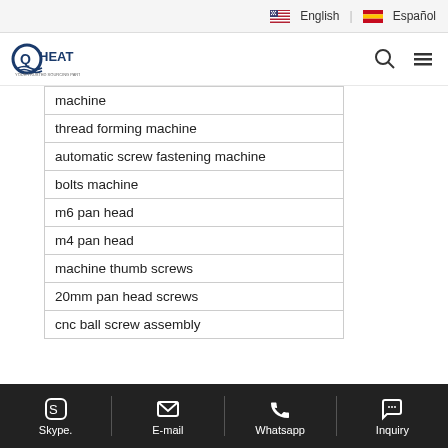English | Español
[Figure (logo): OHEAT company logo with navigation icons]
| machine |
| thread forming machine |
| automatic screw fastening machine |
| bolts machine |
| m6 pan head |
| m4 pan head |
| machine thumb screws |
| 20mm pan head screws |
| cnc ball screw assembly |
Skype. | E-mail | Whatsapp | Inquiry